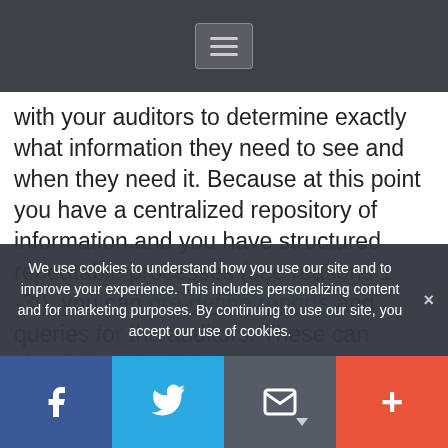[Navigation bar with hamburger menu]
with your auditors to determine exactly what information they need to see and when they need it. Because at this point you have a centralized repository of information and you have structured repeatable processes (see reasons 1 -3!), you can pre-define reports and queries for the auditors. These can simply be scheduled to run at the appropriate time or can be executed on demand. Management can check compliance on an ongoing basis via dashboards or other customizable reports. This is an audit-time dream.
We use cookies to understand how you use our site and to improve your experience. This includes personalizing content and for marketing purposes. By continuing to use our site, you accept our use of cookies.
Knock on the Door
[Social share bar: Facebook, Twitter, Email, Plus]